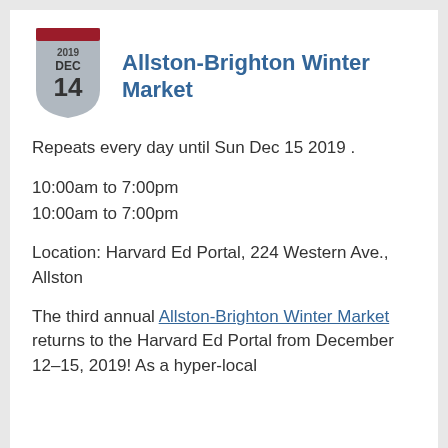[Figure (other): Calendar badge icon showing 2019 DEC 14 in a shield shape with dark red top bar and grey body]
Allston-Brighton Winter Market
Repeats every day until Sun Dec 15 2019 .
10:00am to 7:00pm
10:00am to 7:00pm
Location: Harvard Ed Portal, 224 Western Ave., Allston
The third annual Allston-Brighton Winter Market returns to the Harvard Ed Portal from December 12–15, 2019! As a hyper-local